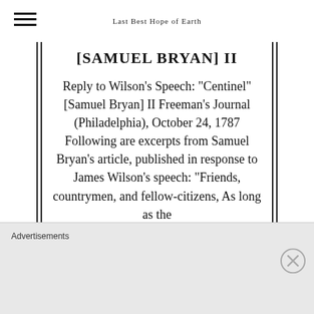Last Best Hope of Earth
[SAMUEL BRYAN] II
Reply to Wilson's Speech: “Centinel” [Samuel Bryan] II Freeman’s Journal (Philadelphia), October 24, 1787 Following are excerpts from Samuel Bryan’s article, published in response to James Wilson’s speech: “Friends, countrymen, and fellow-citizens, As long as the
Advertisements